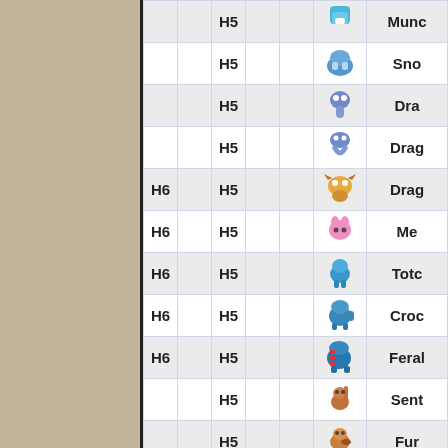| col1 | col2 | col3 | col4 | col5 | col6 | sprite | name |
| --- | --- | --- | --- | --- | --- | --- | --- |
|  |  | H5 |  |  |  | [Munchlax] | Munc... |
|  |  | H5 |  |  |  | [Snorlax] | Sno... |
|  |  | H5 |  |  |  | [Dratini] | Dra... |
|  |  | H5 |  |  |  | [Dragonair] | Drag... |
| H6 |  | H5 |  |  |  | [Dragonite] | Drag... |
| H6 |  | H5 |  |  |  | [Mew] | Me... |
| H6 |  | H5 |  |  |  | [Totodile] | Totc... |
| H6 |  | H5 |  |  |  | [Croconaw] | Croc... |
| H6 |  | H5 |  |  |  | [Feraligatr] | Feral... |
|  |  | H5 |  |  |  | [Sentret] | Sent... |
|  |  | H5 |  |  |  | [Furret] | Fur... |
| H6 |  | H5 |  |  |  | [Chingling] | Chin... |
| H6 |  | H5 |  |  |  | [Lanturn] | Lant... |
|  |  | H5 |  |  |  | [?] | Av... |